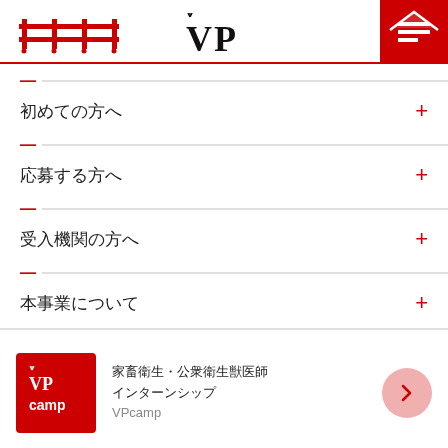VP - VPcamp navigation header
初めての方へ
応募する方へ
受入機関の方へ
本事業について
家畜衛生・公衆衛生獣医師 インターンシップ VPcamp